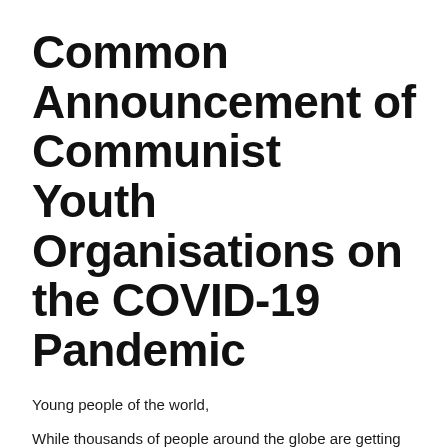Common Announcement of Communist Youth Organisations on the COVID-19 Pandemic
Young people of the world,
While thousands of people around the globe are getting the disease and unfortunately also die of COVID-19, the reality for the peoples, workers and youth is ruthless:
The public health system even of some powerful capitalist countries is naked, full of deficiencies, with